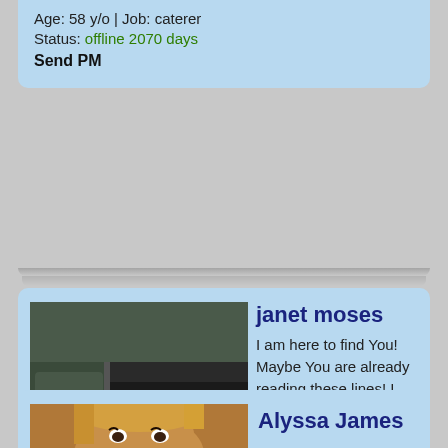Age: 58 y/o | Job: caterer
Status: offline 2070 days
Send PM
janet moses
I am here to find You! Maybe You are already reading these lines! I am like chamelon under the influence of love I can be both - a tender kitten or a wild tigress!;) I like the smell of summer nights…
Age: 31 y/o | Job: Waiter
Status: offline 2202 days
Send PM
Alyssa James